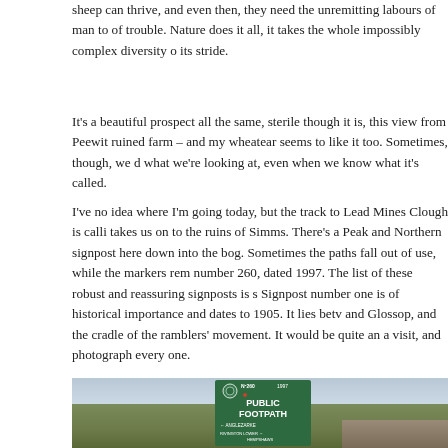sheep can thrive, and even then, they need the unremitting labours of man to of trouble. Nature does it all, it takes the whole impossibly complex diversity o its stride.
It's a beautiful prospect all the same, sterile though it is, this view from Peewit ruined farm – and my wheatear seems to like it too. Sometimes, though, we d what we're looking at, even when we know what it's called.
I've no idea where I'm going today, but the track to Lead Mines Clough is calli takes us on to the ruins of Simms. There's a Peak and Northern signpost here down into the bog. Sometimes the paths fall out of use, while the markers rem number 260, dated 1997. The list of these robust and reassuring signposts is s Signpost number one is of historical importance and dates to 1905. It lies betv and Glossop, and the cradle of the ramblers' movement. It would be quite an a visit, and photograph every one.
[Figure (photo): A green Peak and Northern Footpaths Society signpost numbered 260, dated 1997, reading PUBLIC FOOTPATH with arrows pointing to ANGLEZARKE (left), RIVINGTON, LOWER HEMPSHAWS (right), set against a moorland landscape with overcast sky and a stone wall in the background.]